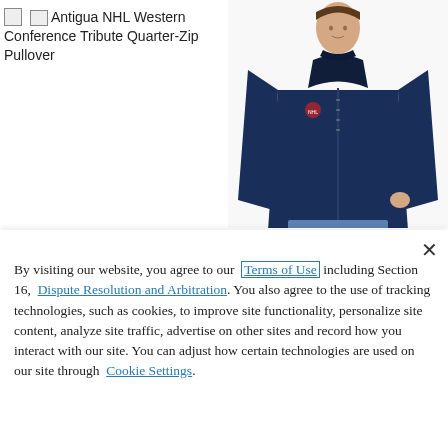[Figure (photo): Product image placeholder text: 'Antigua NHL Western Conference Tribute Quarter-Zip Pullover' with a broken image icon, alongside a photo of a man wearing a navy blue quarter-zip pullover jacket]
By visiting our website, you agree to our Terms of Use including Section 16, Dispute Resolution and Arbitration. You also agree to the use of tracking technologies, such as cookies, to improve site functionality, personalize site content, analyze site traffic, advertise on other sites and record how you interact with our site. You can adjust how certain technologies are used on our site through Cookie Settings.